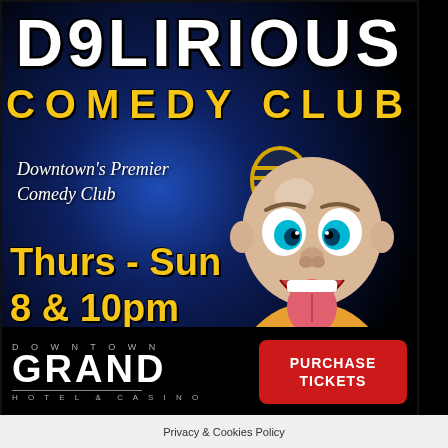[Figure (illustration): Promotional flyer for Delirious Comedy Club at Downtown Grand Hotel & Casino. Dark blue radial gradient background with a cartoon caricature of a bald comedian holding a microphone, wearing a colorful Hawaiian shirt, with exaggerated features including wide eyes and tongue out. Golden microphone icon in center area.]
D9LIRIOUS
COMEDY CLUB
Downtown's Premier Comedy Club
Thurs - Sun
8 & 10pm
DOWNTOWN
GRAND
HOTEL & CASINO
PURCHASE TICKETS
Privacy & Cookies Policy